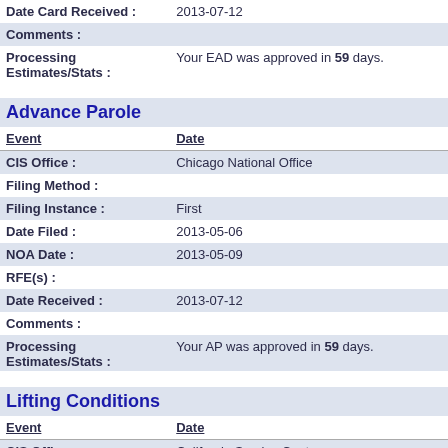| Event | Date |
| --- | --- |
| Date Card Received : | 2013-07-12 |
| Comments : |  |
| Processing Estimates/Stats : | Your EAD was approved in 59 days. |
Advance Parole
| Event | Date |
| --- | --- |
| CIS Office : | Chicago National Office |
| Filing Method : |  |
| Filing Instance : | First |
| Date Filed : | 2013-05-06 |
| NOA Date : | 2013-05-09 |
| RFE(s) : |  |
| Date Received : | 2013-07-12 |
| Comments : |  |
| Processing Estimates/Stats : | Your AP was approved in 59 days. |
Lifting Conditions
| Event | Date |
| --- | --- |
| CIS Office : | California Service Center |
| Date Filed : | 2015-06-05 |
| NOA Date : | 2015-06-08 |